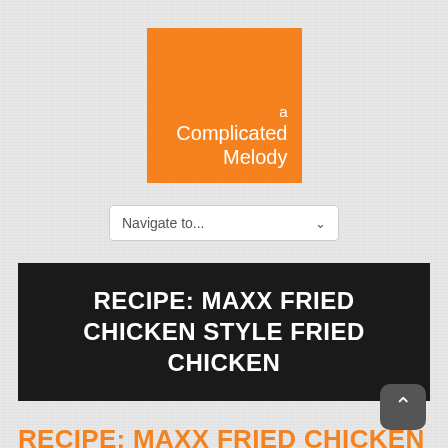[Figure (logo): Orange square logo with white text reading 'a Complicated Melody']
Navigate to...
RECIPE: MAXX FRIED CHICKEN STYLE FRIED CHICKEN
RECIPE: MAXX FRIED CHICKEN STYLE FRIED CHICKEN